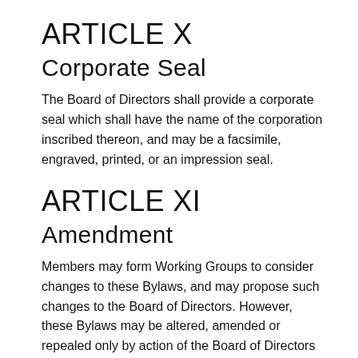ARTICLE X
Corporate Seal
The Board of Directors shall provide a corporate seal which shall have the name of the corporation inscribed thereon, and may be a facsimile, engraved, printed, or an impression seal.
ARTICLE XI
Amendment
Members may form Working Groups to consider changes to these Bylaws, and may propose such changes to the Board of Directors. However, these Bylaws may be altered, amended or repealed only by action of the Board of Directors by a majority of